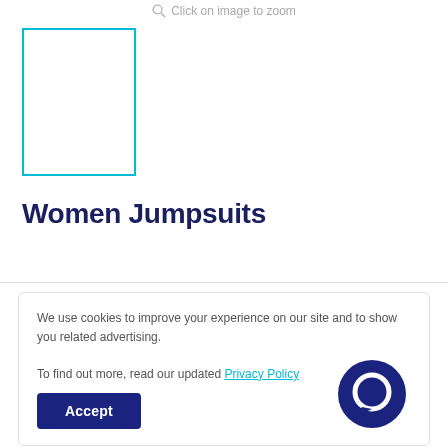Click on image to zoom
[Figure (other): Cyan-bordered empty product image placeholder rectangle]
Women Jumpsuits
We use cookies to improve your experience on our site and to show you related advertising.

To find out more, read our updated Privacy Policy
Accept